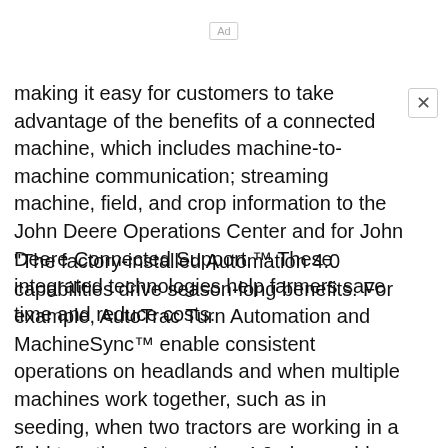Ad
making it easy for customers to take advantage of the benefits of a connected machine, which includes machine-to-machine communication; streaming machine, field, and crop information to the John Deere Operations Center and for John Deere Connected Support.™ These integrated technologies help farmers save time and reduce costs.
“The factory-installed Automation 4.0 capabilities drive season-long benefits. For example, AutoTrac Turn Automation and MachineSync™ enable consistent operations on headlands and when multiple machines work together, such as in seeding, when two tractors are working in a field together. Automation 4.0 also enables AutoPath™ for farmers to accurately document and